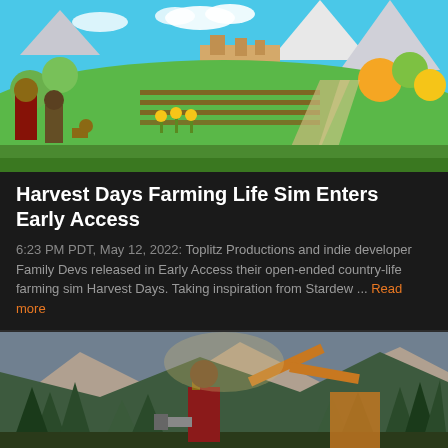[Figure (photo): Screenshot from Harvest Days farming simulation game showing colorful cartoon-style farm scene with characters, crop fields, sunflowers, fruit trees, and a town in the background under a blue sky with mountains.]
Harvest Days Farming Life Sim Enters Early Access
6:23 PM PDT, May 12, 2022: Toplitz Productions and indie developer Family Devs released in Early Access their open-ended country-life farming sim Harvest Days. Taking inspiration from Stardew ... Read more
[Figure (photo): Screenshot from a forestry/lumberjack game showing a character in a red plaid shirt holding a chainsaw standing in front of forested mountain valley with logging machinery.]